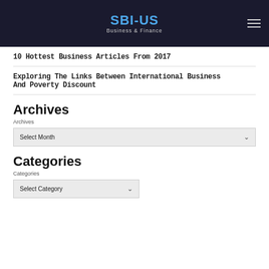SBI-US Business & Finance
10 Hottest Business Articles From 2017
Exploring The Links Between International Business And Poverty Discount
Archives
Archives
Select Month
Categories
Categories
Select Category